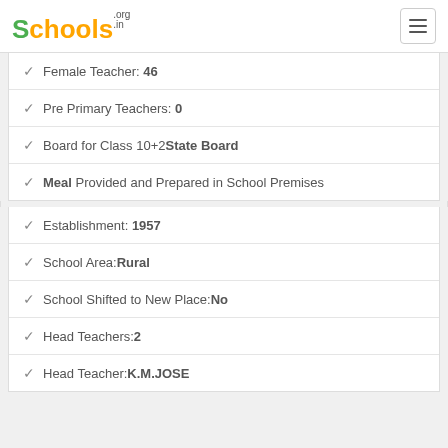Schools.org.in
Female Teacher: 46
Pre Primary Teachers: 0
Board for Class 10+2 State Board
Meal Provided and Prepared in School Premises
Establishment: 1957
School Area: Rural
School Shifted to New Place: No
Head Teachers: 2
Head Teacher: K.M.JOSE